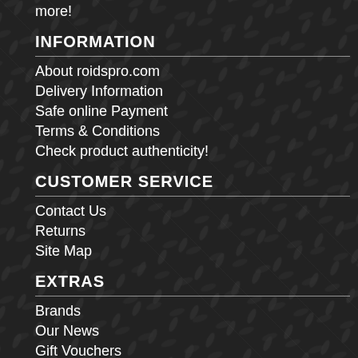more!
INFORMATION
About roidspro.com
Delivery Information
Safe online Payment
Terms & Conditions
Check product authenticity!
CUSTOMER SERVICE
Contact Us
Returns
Site Map
EXTRAS
Brands
Our News
Gift Vouchers
Affiliates
Specials